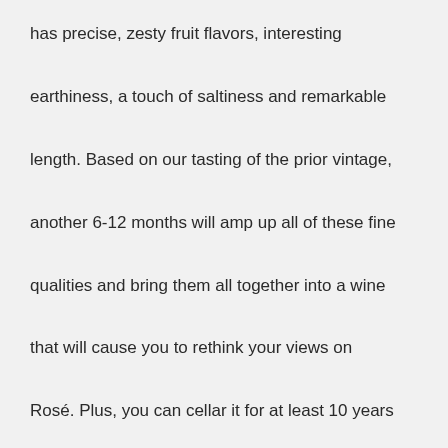has precise, zesty fruit flavors, interesting earthiness, a touch of saltiness and remarkable length. Based on our tasting of the prior vintage, another 6-12 months will amp up all of these fine qualities and bring them all together into a wine that will cause you to rethink your views on Rosé. Plus, you can cellar it for at least 10 years to coax out more complex, earthy flavors.
About this wine
A blend of 50% Mourvèdre, 40% Cinsault and 10% Grenache from vineyards planted, on average, 23 years ago in limestone and clay. Yields are just 30 hl/ha.